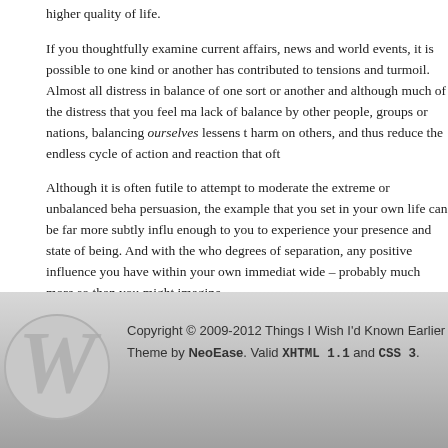higher quality of life.
If you thoughtfully examine current affairs, news and world events, it is possible to one kind or another has contributed to tensions and turmoil. Almost all distress in balance of one sort or another and although much of the distress that you feel ma lack of balance by other people, groups or nations, balancing ourselves lessens t harm on others, and thus reduce the endless cycle of action and reaction that oft
Although it is often futile to attempt to moderate the extreme or unbalanced beha persuasion, the example that you set in your own life can be far more subtly influ enough to you to experience your presence and state of being. And with the who degrees of separation, any positive influence you have within your own immediat wide – probably much more so than you might imagine.
Good luck with your efforts at finding a dynamic balance!
And in future articles, I will be seeking to do my own bit by covering a healthy ba
Life   Balance, Philosophy, Principles
Copyright © 2009-2012 Things I Wish I'd Known Earlier. Theme by NeoEase. Valid XHTML 1.1 and CSS 3.